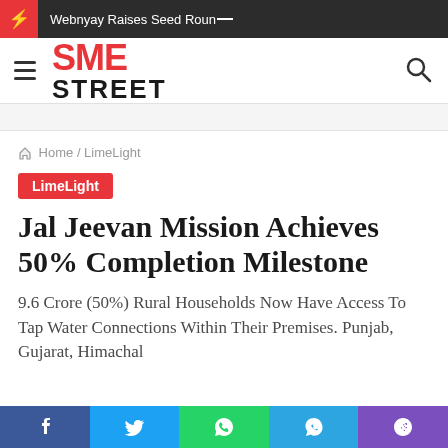Webnyay Raises Seed Roun_
[Figure (logo): SME Street logo with red SME text and black STREET text, hamburger menu and search icon]
Home / LimeLight
LimeLight
Jal Jeevan Mission Achieves 50% Completion Milestone
9.6 Crore (50%) Rural Households Now Have Access To Tap Water Connections Within Their Premises. Punjab, Gujarat, Himachal